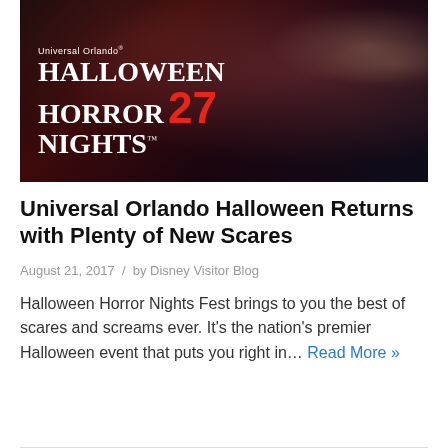[Figure (photo): Halloween Horror Nights 27 event banner image showing people in costumes at a dark party event. White text overlay reads 'Universal Orlando® HALLOWEEN HORROR NIGHTS™ 27' with '27' in large red numerals.]
Universal Orlando Halloween Returns with Plenty of New Scares
August 21, 2017 / by Disney Visitor Blog
Halloween Horror Nights Fest brings to you the best of scares and screams ever. It's the nation's premier Halloween event that puts you right in… Read More »